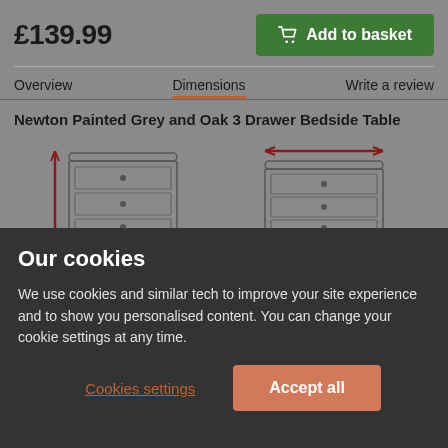£139.99
Add to basket
Overview
Dimensions
Write a review
Newton Painted Grey and Oak 3 Drawer Bedside Table
[Figure (illustration): Two line-drawing illustrations of a 3-drawer bedside table showing height dimension (left, with red vertical measurement arrow) and width dimension (right, with red horizontal measurement arrow)]
Our cookies
We use cookies and similar tech to improve your site experience and to show you personalised content. You can change your cookie settings at any time.
Cookies settings
Accept all